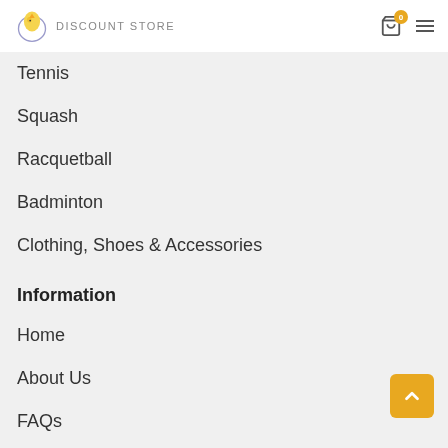DISCOUNT STORE
Tennis
Squash
Racquetball
Badminton
Clothing, Shoes & Accessories
Information
Home
About Us
FAQs
Returns & Exchanges
Shipping & Returns
Payment Method